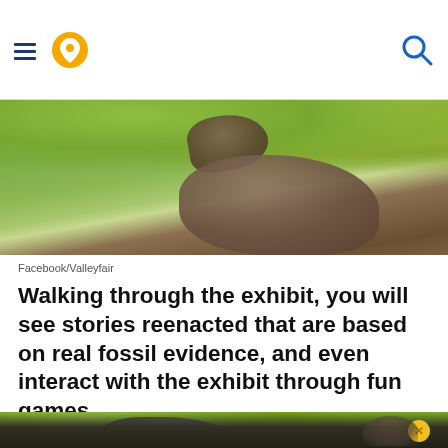Navigation header with hamburger menu, location pin icon, and search icon
[Figure (photo): Outdoor photo of an animatronic dinosaur exhibit among green trees, showing dark brown dinosaur body and head against lush green foliage]
Facebook/Valleyfair
Walking through the exhibit, you will see stories reenacted that are based on real fossil evidence, and even interact with the exhibit through fun games.
[Figure (photo): Outdoor photo of animatronic dinosaurs in a wooded setting, with a yellow close button (X) visible in the upper right area, and visitors visible at the bottom]